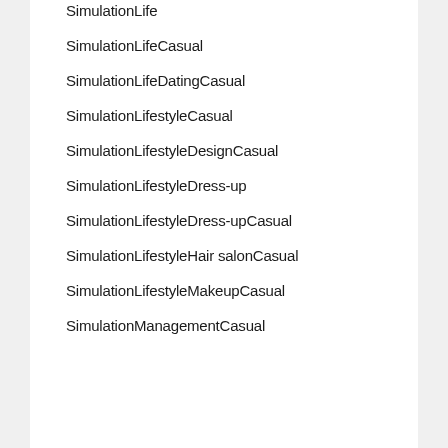SimulationLife
SimulationLifeCasual
SimulationLifeDatingCasual
SimulationLifestyleCasual
SimulationLifestyleDesignCasual
SimulationLifestyleDress-up
SimulationLifestyleDress-upCasual
SimulationLifestyleHair salonCasual
SimulationLifestyleMakeupCasual
SimulationManagementCasual